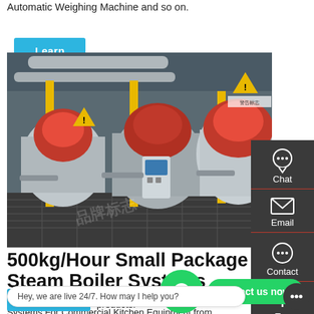Automatic Weighing Machine and so on.
Learn More
[Figure (photo): Industrial boiler room with multiple red package steam boilers on a metal grating floor, yellow pipes and safety warning signs visible.]
500kg/Hour Small Package Steam Boiler Systems
High quality 500kg/Hour Small Package Steam Boiler Systems For Commercial Kitchen Equipment from China, China's leading fire tube steam boiler product, with strict qual factories, producing high quality package steam boil products.
Contact us now!
Hey, we are live 24/7. How may I help you?